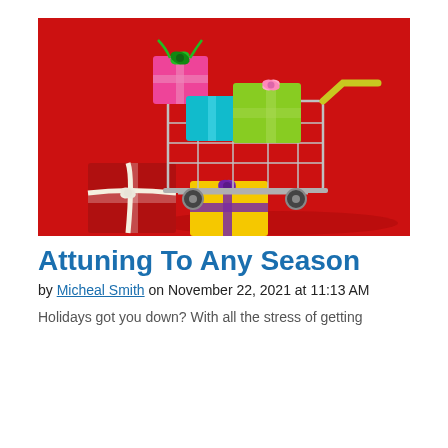[Figure (photo): A shopping cart filled with colorful wrapped gift boxes on a bright red background, with more gifts in front including a red box with white ribbon and a yellow box with purple ribbon.]
Attuning To Any Season
by Micheal Smith on November 22, 2021 at 11:13 AM
Holidays got you down? With all the stress of getting